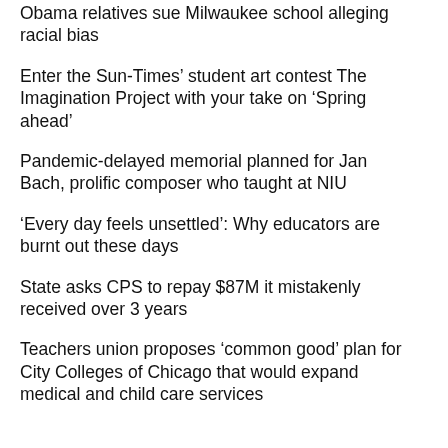Obama relatives sue Milwaukee school alleging racial bias
Enter the Sun-Times’ student art contest The Imagination Project with your take on ‘Spring ahead’
Pandemic-delayed memorial planned for Jan Bach, prolific composer who taught at NIU
‘Every day feels unsettled’: Why educators are burnt out these days
State asks CPS to repay $87M it mistakenly received over 3 years
Teachers union proposes ‘common good’ plan for City Colleges of Chicago that would expand medical and child care services